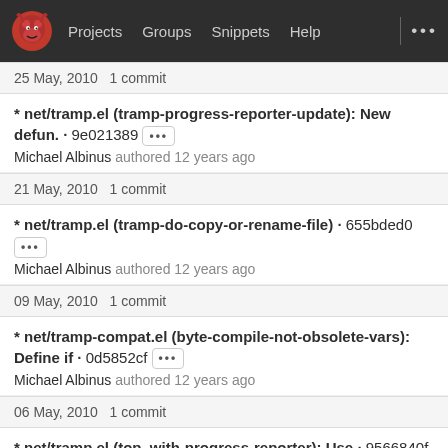Projects  Groups  Snippets  Help  ...
25 May, 2010 1 commit
* net/tramp.el (tramp-progress-reporter-update): New defun. · 9e021389 [...] Michael Albinus authored 12 years ago
21 May, 2010 1 commit
* net/tramp.el (tramp-do-copy-or-rename-file) · 655bded0 [...] Michael Albinus authored 12 years ago
09 May, 2010 1 commit
* net/tramp-compat.el (byte-compile-not-obsolete-vars): Define if · 0d5852cf [...] Michael Albinus authored 12 years ago
06 May, 2010 1 commit
* net/tramp.el (top, with-progress-reporter): Use · 9566840f [...]